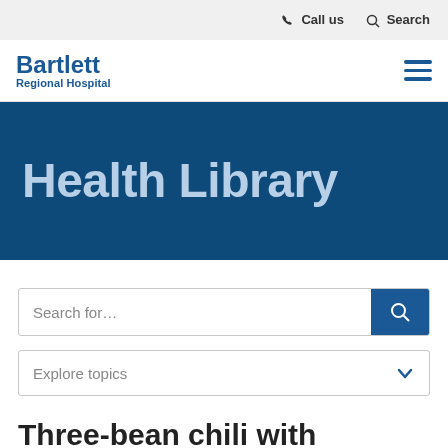Call us   Search
[Figure (logo): Bartlett Regional Hospital logo with blue text]
Health Library
Search for…
Explore topics
Three-bean chili with